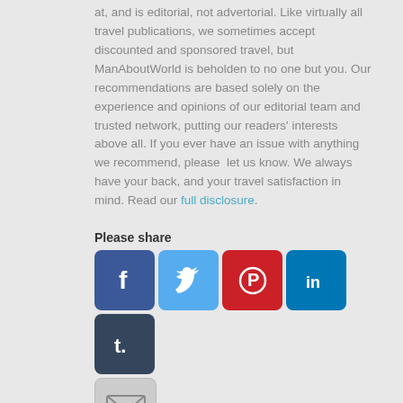at, and is editorial, not advertorial. Like virtually all travel publications, we sometimes accept discounted and sponsored travel, but ManAboutWorld is beholden to no one but you. Our recommendations are based solely on the experience and opinions of our editorial team and trusted network, putting our readers' interests above all. If you ever have an issue with anything we recommend, please  let us know. We always have your back, and your travel satisfaction in mind. Read our full disclosure.
Please share
[Figure (infographic): Social sharing buttons: Facebook (blue), Twitter (light blue), Pinterest (red), LinkedIn (dark blue), Tumblr (dark), and Email (grey) icons arranged in two rows.]